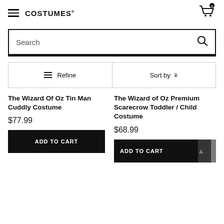COSTUMES (logo/brand header with cart icon showing 0)
Search
≡ Refine   Sort by ▾
The Wizard Of Oz Tin Man Cuddly Costume
$77.99
ADD TO CART
The Wizard of Oz Premium Scarecrow Toddler / Child Costume
$68.99
ADD TO CART